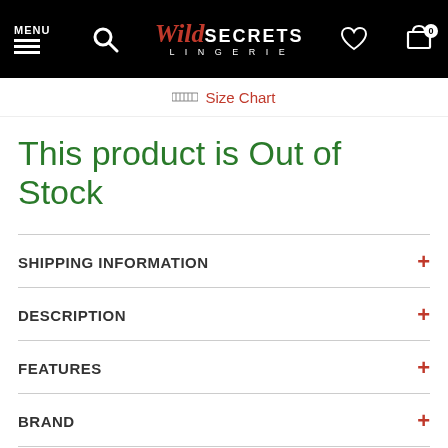MENU | Search | Wild Secrets Lingerie | Wishlist | Cart 0
Size Chart
This product is Out of Stock
SHIPPING INFORMATION +
DESCRIPTION +
FEATURES +
BRAND +
CATEGORIES +